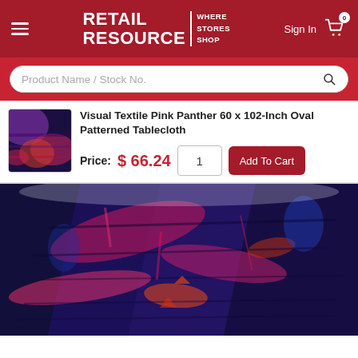RETAIL RESOURCE | WHERE STORES SHOP
Product Name / Stock No.
Visual Textile Pink Panther 60 x 102-Inch Oval Patterned Tablecloth
Price: $ 66.24
[Figure (photo): Close-up photo of a patterned tablecloth draped over a table, featuring a vivid blue, purple, pink, orange, and black abstract patterned fabric resembling a Pink Panther textile design.]